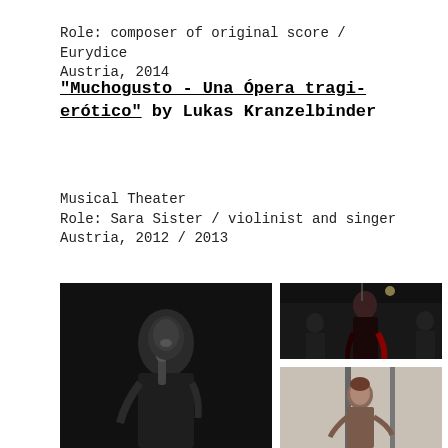Role: composer of original score / Eurydice
Austria, 2014
"Muchogusto - Una Ópera tragi-erótico" by Lukas Kranzelbinder
Musical Theater
Role: Sara Sister / violinist and singer
Austria, 2012 / 2013
[Figure (photo): Black and white photo of a performer singing into a microphone on stage]
[Figure (photo): Color photo of a female performer singing on stage with musicians in the background]
[Figure (photo): Color photo of a performer on stage, partially visible, lighter background]